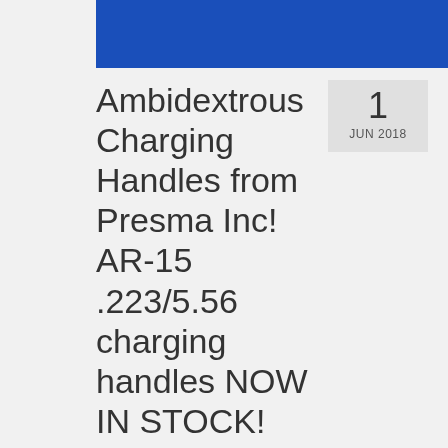[Figure (other): Blue banner bar at top of page]
Ambidextrous Charging Handles from Presma Inc! AR-15 .223/5.56 charging handles NOW IN STOCK!
1 JUN 2018
by Presma Inc | Posted in: New Products, Presma Press Releases, Uncategorized | 0
Presma® Ambidextrous AR-15 Charging Handle.   SKU CH02 Brand new product that allows both right and left-handed shooters to easily charge their AR-15. Also useful for 3 gun shooting and for training off-hand use. • Pulling from either side will result … Continued